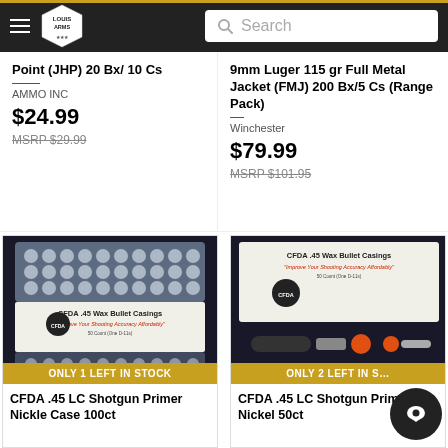Louis Arms — Search bar
Point (JHP) 20 Bx/ 10 Cs — AMMO INC
$24.99 MSRP $29.99
9mm Luger 115 gr Full Metal Jacket (FMJ) 200 Bx/5 Cs (Range Pack) — Winchester
$79.99 MSRP $101.95
[Figure (photo): CFDA .45 Wax Bullet Casings box with wax bullet case tray, shown on dark background. Badge: ONLY 1 LEFT IN STOCK]
CFDA .45 LC Shotgun Primer Nickle Case 100ct
[Figure (photo): CFDA .45 Wax Bullet Casings box with wax bullet case tray, shown on dark background. Badge: ONLY 2 LEFT IN STOCK]
CFDA .45 LC Shotgun Primer Nickel 50ct